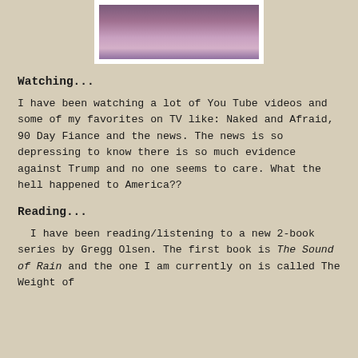[Figure (photo): Partial photo of a person wearing pink/purple clothing, shown cropped at top of page in a white frame]
Watching...
I have been watching a lot of You Tube videos and some of my favorites on TV like: Naked and Afraid, 90 Day Fiance and the news. The news is so depressing to know there is so much evidence against Trump and no one seems to care. What the hell happened to America??
Reading...
I have been reading/listening to a new 2-book series by Gregg Olsen. The first book is The Sound of Rain and the one I am currently on is called The Weight of